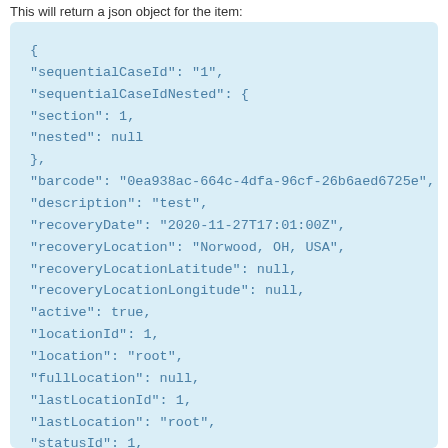This will return a json object for the item:
{
"sequentialCaseId": "1",
"sequentialCaseIdNested": {
"section": 1,
"nested": null
},
"barcode": "0ea938ac-664c-4dfa-96cf-26b6aed6725e",
"description": "test",
"recoveryDate": "2020-11-27T17:01:00Z",
"recoveryLocation": "Norwood, OH, USA",
"recoveryLocationLatitude": null,
"recoveryLocationLongitude": null,
"active": true,
"locationId": 1,
"location": "root",
"fullLocation": null,
"lastLocationId": 1,
"lastLocation": "root",
"statusId": 1,
"status": "Checked In",